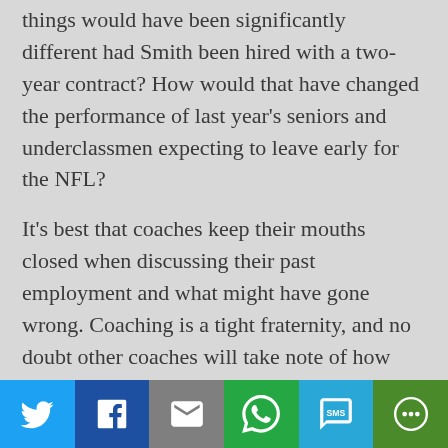things would have been significantly different had Smith been hired with a two-year contract? How would that have changed the performance of last year's seniors and underclassmen expecting to leave early for the NFL?
It's best that coaches keep their mouths closed when discussing their past employment and what might have gone wrong. Coaching is a tight fraternity, and no doubt other coaches will take note of how these trio of former Hog coaches tossed blame all around except where it should have been directed.
(Read player reaction to the story here.)
UH-OH: Florida led South Carolina 33-10 on the way to a 31-point wipeout of the Gamecocks on Wednesday
[Figure (infographic): Social sharing bar with Twitter, Facebook, Email, WhatsApp, SMS, and More buttons]